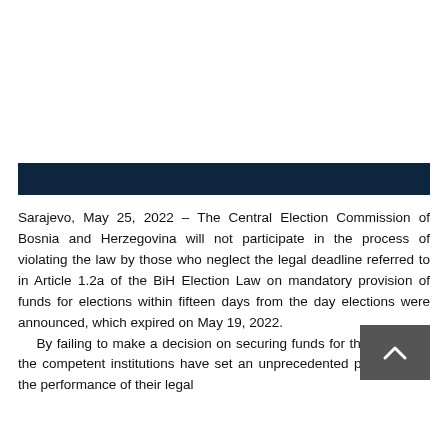[Figure (other): Dark navy horizontal banner/header bar]
Sarajevo, May 25, 2022 – The Central Election Commission of Bosnia and Herzegovina will not participate in the process of violating the law by those who neglect the legal deadline referred to in Article 1.2a of the BiH Election Law on mandatory provision of funds for elections within fifteen days from the day elections were announced, which expired on May 19, 2022.
    By failing to make a decision on securing funds for the elections, the competent institutions have set an unprecedented precedent in the performance of their legal